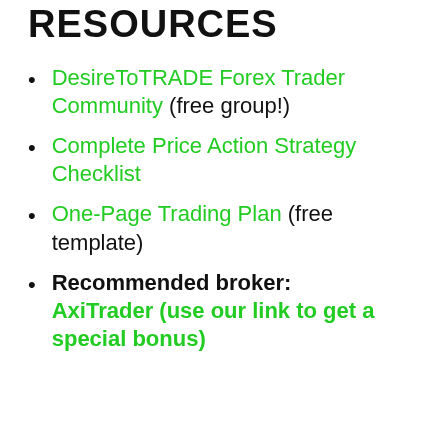RESOURCES
DesireToTRADE Forex Trader Community (free group!)
Complete Price Action Strategy Checklist
One-Page Trading Plan (free template)
Recommended broker: AxiTrader (use our link to get a special bonus)